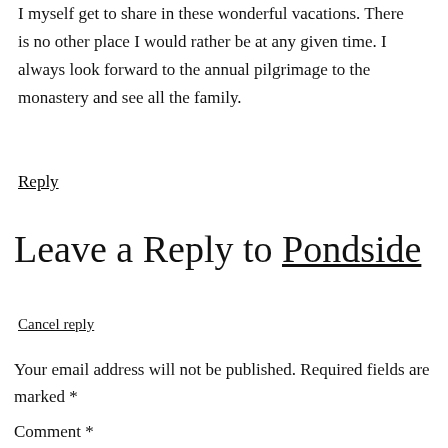I myself get to share in these wonderful vacations. There is no other place I would rather be at any given time. I always look forward to the annual pilgrimage to the monastery and see all the family.
Reply
Leave a Reply to Pondside
Cancel reply
Your email address will not be published. Required fields are marked *
Comment *